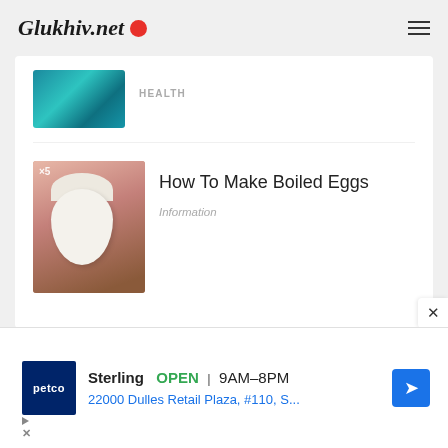Glukhiv.net
[Figure (photo): Partially visible thumbnail of water/aquatic image]
HEALTH
[Figure (photo): Thumbnail of a boiled egg being peeled, held in hand, pink background]
How To Make Boiled Eggs
Information
[Figure (infographic): Advertisement banner: Petco store - Sterling, OPEN, 9AM-8PM, 22000 Dulles Retail Plaza, #110, S...]